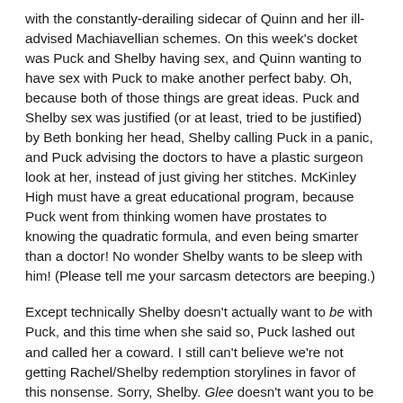with the constantly-derailing sidecar of Quinn and her ill-advised Machiavellian schemes.  On this week's docket was Puck and Shelby having sex, and Quinn wanting to have sex with Puck to make another perfect baby.  Oh, because both of those things are great ideas.  Puck and Shelby sex was justified (or at least, tried to be justified) by Beth bonking her head, Shelby calling Puck in a panic, and Puck advising the doctors to have a plastic surgeon look at her, instead of just giving her stitches.  McKinley High must have a great educational program, because Puck went from thinking women have prostates to knowing the quadratic formula, and even being smarter than a doctor!  No wonder Shelby wants to be sleep with him!  (Please tell me your sarcasm detectors are beeping.)
Except technically Shelby doesn't actually want to be with Puck, and this time when she said so, Puck lashed out and called her a coward.  I still can't believe we're not getting Rachel/Shelby redemption storylines in favor of this nonsense.  Sorry, Shelby.  Glee doesn't want you to be a mature adult attempting to atone for the mistakes you've made, and instead would prefer you to be emotionally